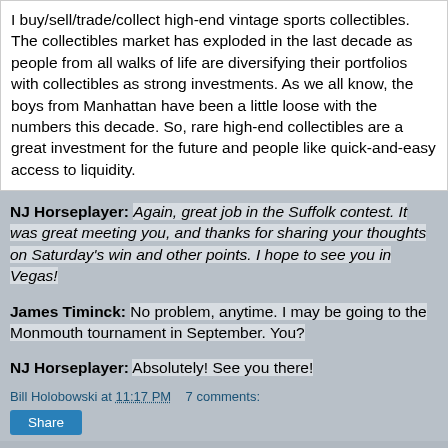I buy/sell/trade/collect high-end vintage sports collectibles. The collectibles market has exploded in the last decade as people from all walks of life are diversifying their portfolios with collectibles as strong investments. As we all know, the boys from Manhattan have been a little loose with the numbers this decade. So, rare high-end collectibles are a great investment for the future and people like quick-and-easy access to liquidity.
NJ Horseplayer: Again, great job in the Suffolk contest. It was great meeting you, and thanks for sharing your thoughts on Saturday's win and other points. I hope to see you in Vegas!
James Timinck: No problem, anytime. I may be going to the Monmouth tournament in September. You?
NJ Horseplayer: Absolutely! See you there!
Bill Holobowski at 11:17 PM  7 comments: